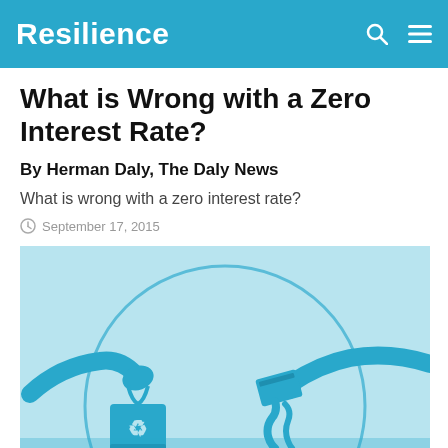Resilience
What is Wrong with a Zero Interest Rate?
By Herman Daly, The Daly News
What is wrong with a zero interest rate?
September 17, 2015
[Figure (illustration): Blue-toned illustration showing hands exchanging items — one hand holding a reusable shopping bag with a recycling symbol, another hand holding what appears to be money or a card, with a large circular arc in the background, all in shades of blue on a light blue background.]